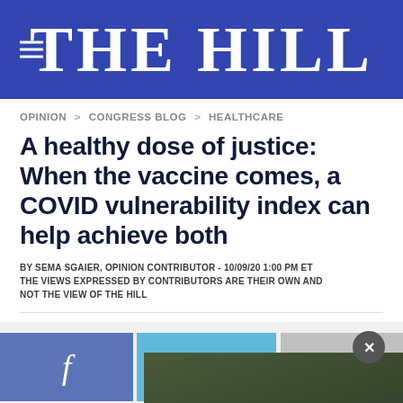THE HILL
OPINION > CONGRESS BLOG > HEALTHCARE
A healthy dose of justice: When the vaccine comes, a COVID vulnerability index can help achieve both
BY SEMA SGAIER, OPINION CONTRIBUTOR - 10/09/20 1:00 PM ET THE VIEWS EXPRESSED BY CONTRIBUTORS ARE THEIR OWN AND NOT THE VIEW OF THE HILL
[Figure (photo): Social sharing bar with Facebook button and a photo of a person at a conference table, with a close button overlay]